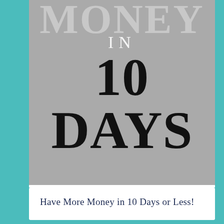[Figure (illustration): Gray background image section showing large text 'MONEY' at top (partially cropped), then 'IN' and '10 DAYS' in large bold serif font. A hand pointing finger is faintly visible in the background.]
Have More Money in 10 Days or Less!
Weekly Spring Cleaning Project
[Figure (infographic): Advertisement banner at bottom showing Smoothie King logo with checkmarks for Dine-in and Curbside pickup, X for Delivery, and a blue navigation arrow icon. Also shows X close button.]